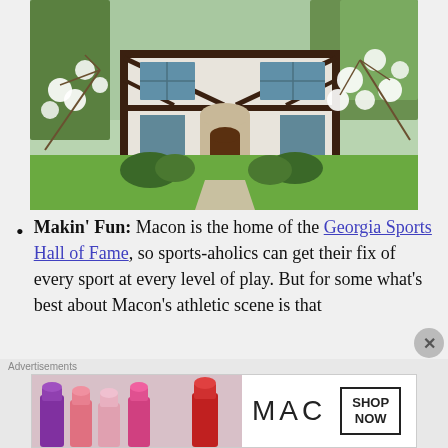[Figure (photo): A Tudor-style white and dark-wood framed house with green lawn, surrounded by trees and white flowering dogwood branches in the foreground.]
Makin' Fun: Macon is the home of the Georgia Sports Hall of Fame, so sports-aholics can get their fix of every sport at every level of play. But for some what's best about Macon's athletic scene is that
[Figure (photo): MAC cosmetics advertisement showing colorful lipsticks (purple, pink, coral, red) with MAC logo and SHOP NOW box.]